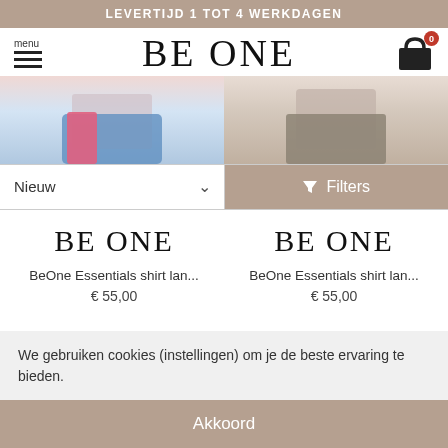LEVERTIJD 1 TOT 4 WERKDAGEN
[Figure (screenshot): BE ONE webshop navigation bar with hamburger menu, BE ONE logo, and shopping cart icon with badge 0]
[Figure (photo): Two product images side by side showing clothing items — left shows jeans/pink top, right shows patterned skirt]
[Figure (screenshot): Sort dropdown showing 'Nieuw' and filter button with funnel icon]
[Figure (logo): BE ONE logo left product card]
BeOne Essentials shirt lan...
€ 55,00
[Figure (logo): BE ONE logo right product card]
BeOne Essentials shirt lan...
€ 55,00
We gebruiken cookies (instellingen) om je de beste ervaring te bieden.
Akkoord